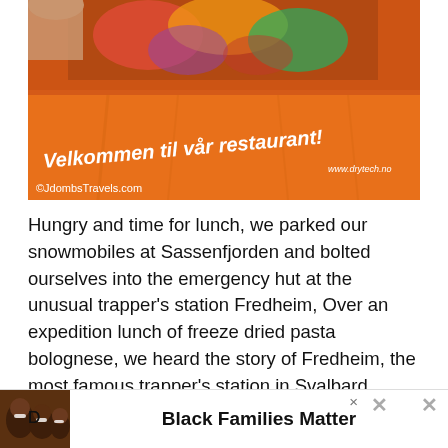[Figure (photo): Photo of an orange bag/packaging with text 'Velkommen til vår restaurant!' in white italic letters, and website www.drytech.no. Watermark ©JdombsTravels.com at bottom left.]
Hungry and time for lunch, we parked our snowmobiles at Sassenfjorden and bolted ourselves into the emergency hut at the unusual trapper's station Fredheim, Over an expedition lunch of freeze dried pasta bolognese, we heard the story of Fredheim, the most famous trapper's station in Svalbard. What makes it so unique is that children were born at Fredheim. Tthe main building was built by Hilmar Nøis in the 1924 and married Ellen
[Figure (photo): Advertisement banner: photo of smiling Black family children on the left, bold text 'Black Families Matter' in center, close buttons on right.]